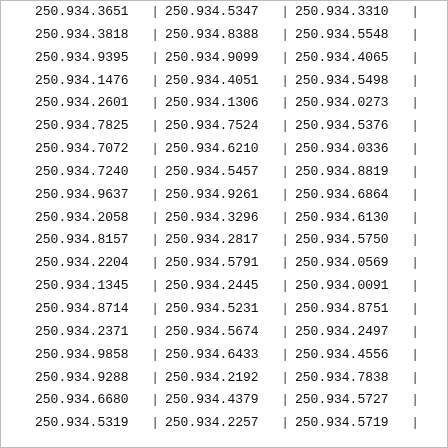| 250.934.3651 | | | 250.934.5347 | | | 250.934.3310 | | |
| 250.934.3818 | | | 250.934.8388 | | | 250.934.5548 | | |
| 250.934.9395 | | | 250.934.9099 | | | 250.934.4065 | | |
| 250.934.1476 | | | 250.934.4051 | | | 250.934.5498 | | |
| 250.934.2601 | | | 250.934.1306 | | | 250.934.0273 | | |
| 250.934.7825 | | | 250.934.7524 | | | 250.934.5376 | | |
| 250.934.7072 | | | 250.934.6210 | | | 250.934.0336 | | |
| 250.934.7240 | | | 250.934.5457 | | | 250.934.8819 | | |
| 250.934.9637 | | | 250.934.9261 | | | 250.934.6864 | | |
| 250.934.2058 | | | 250.934.3296 | | | 250.934.6130 | | |
| 250.934.8157 | | | 250.934.2817 | | | 250.934.5750 | | |
| 250.934.2204 | | | 250.934.5791 | | | 250.934.0569 | | |
| 250.934.1345 | | | 250.934.2445 | | | 250.934.0091 | | |
| 250.934.8714 | | | 250.934.5231 | | | 250.934.8751 | | |
| 250.934.2371 | | | 250.934.5674 | | | 250.934.2497 | | |
| 250.934.9858 | | | 250.934.6433 | | | 250.934.4556 | | |
| 250.934.9288 | | | 250.934.2192 | | | 250.934.7838 | | |
| 250.934.6680 | | | 250.934.4379 | | | 250.934.5727 | | |
| 250.934.5319 | | | 250.934.2257 | | | 250.934.5719 | | |